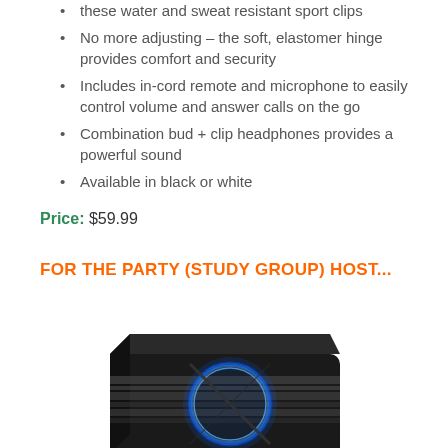these water and sweat resistant sport clips
No more adjusting – the soft, elastomer hinge provides comfort and security
Includes in-cord remote and microphone to easily control volume and answer calls on the go
Combination bud + clip headphones provides a powerful sound
Available in black or white
Price: $59.99
FOR THE PARTY (STUDY GROUP) HOST...
[Figure (photo): A black rectangular electronic audio device (speaker or amplifier) with a blue glowing circular ring/dial on top, shown at a slight angle]